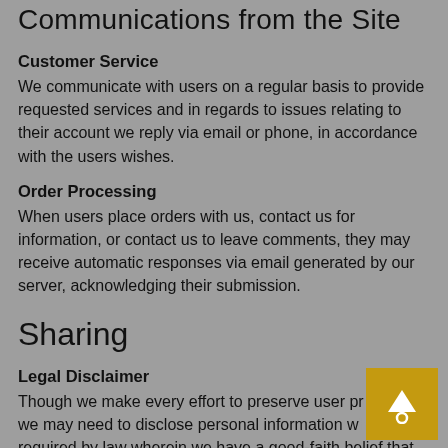Communications from the Site
Customer Service
We communicate with users on a regular basis to provide requested services and in regards to issues relating to their account we reply via email or phone, in accordance with the users wishes.
Order Processing
When users place orders with us, contact us for information, or contact us to leave comments, they may receive automatic responses via email generated by our server, acknowledging their submission.
Sharing
Legal Disclaimer
Though we make every effort to preserve user privacy, we may need to disclose personal information when required by law wherein we have a good-faith belief that